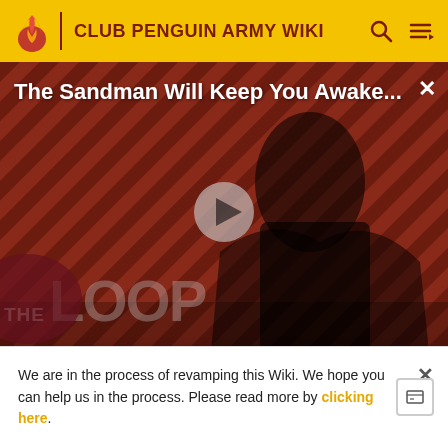CLUB PENGUIN ARMY WIKI
[Figure (screenshot): Video thumbnail for 'The Sandman Will Keep You Awake...' showing a dark-cloaked figure against a red diagonal striped background with The Loop watermark. A play button is overlaid in the center.]
The Sandman Will Keep You Awake - The Loop
the situation was an issue. weeks went by and ch
We are in the process of revamping this Wiki. We hope you can help us in the process. Please read more by clicking here.